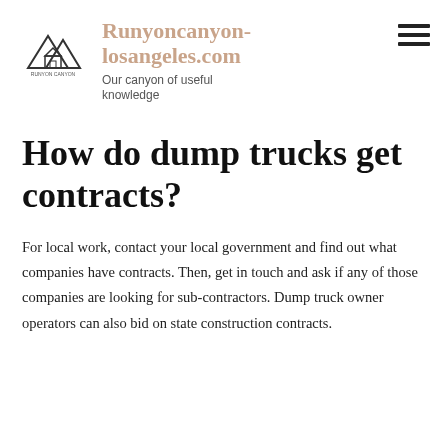[Figure (logo): Runyon Canyon Los Angeles mountain and house logo icon]
Runyoncanyon-losangeles.com
Our canyon of useful knowledge
How do dump trucks get contracts?
For local work, contact your local government and find out what companies have contracts. Then, get in touch and ask if any of those companies are looking for sub-contractors. Dump truck owner operators can also bid on state construction contracts.